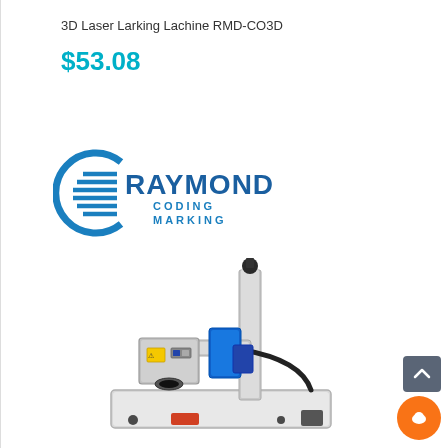3D Laser Larking Lachine RMD-CO3D
$53.08
[Figure (logo): Raymond Coding Marking company logo in blue with stylized 'C' arc and horizontal lines on the left side]
[Figure (photo): 3D laser marking machine on a flat metal base with a vertical column, horizontal arm holding a laser head with blue module, and black cable attached. Machine is silver/white colored.]